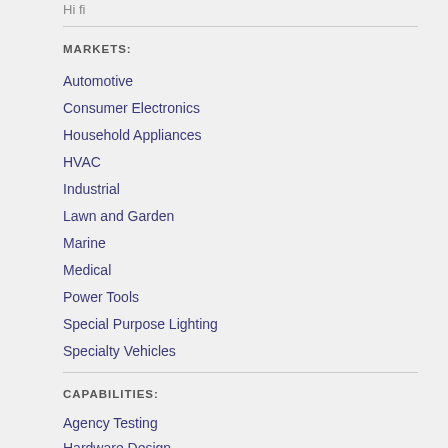Hi fi
MARKETS:
Automotive
Consumer Electronics
Household Appliances
HVAC
Industrial
Lawn and Garden
Marine
Medical
Power Tools
Special Purpose Lighting
Specialty Vehicles
CAPABILITIES:
Agency Testing
Hardware Design